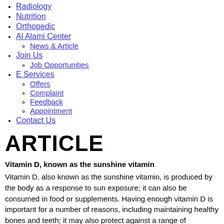Radiology
Nutrition
Orthopedic
Al Alami Center
News & Article
Join Us
Job Opportunities
E Services
Offers
Complaint
Feedback
Appointment
Contact Us
ARTICLE
Vitamin D, known as the sunshine vitamin
Vitamin D, also known as the sunshine vitamin, is produced by the body as a response to sun exposure; it can also be consumed in food or supplements. Having enough vitamin D is important for a number of reasons, including maintaining healthy bones and teeth; it may also protect against a range of conditions such as cancer